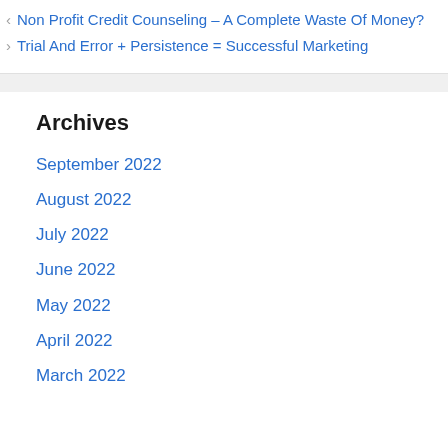< Non Profit Credit Counseling – A Complete Waste Of Money?
> Trial And Error + Persistence = Successful Marketing
Archives
September 2022
August 2022
July 2022
June 2022
May 2022
April 2022
March 2022